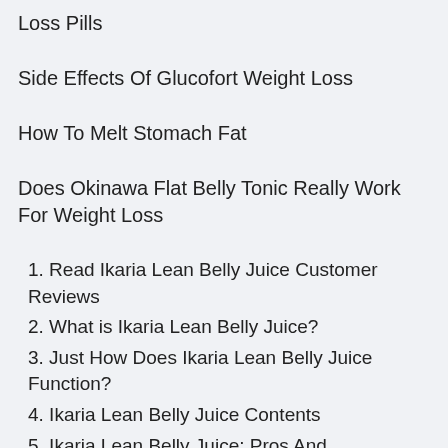Loss Pills
Side Effects Of Glucofort Weight Loss
How To Melt Stomach Fat
Does Okinawa Flat Belly Tonic Really Work For Weight Loss
1. Read Ikaria Lean Belly Juice Customer Reviews
2. What is Ikaria Lean Belly Juice?
3. Just How Does Ikaria Lean Belly Juice Function?
4. Ikaria Lean Belly Juice Contents
5. Ikaria Lean Belly Juice: Pros And